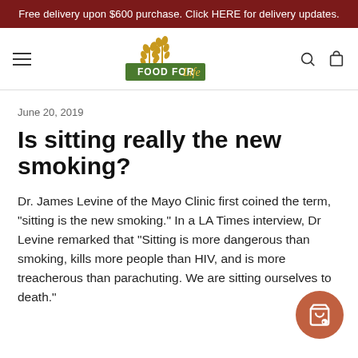Free delivery upon $600 purchase. Click HERE for delivery updates.
[Figure (logo): Food For Life logo with wheat stalks and green banner]
June 20, 2019
Is sitting really the new smoking?
Dr. James Levine of the Mayo Clinic first coined the term, “sitting is the new smoking.” In a LA Times interview, Dr Levine remarked that "Sitting is more dangerous than smoking, kills more people than HIV, and is more treacherous than parachuting. We are sitting ourselves to death."